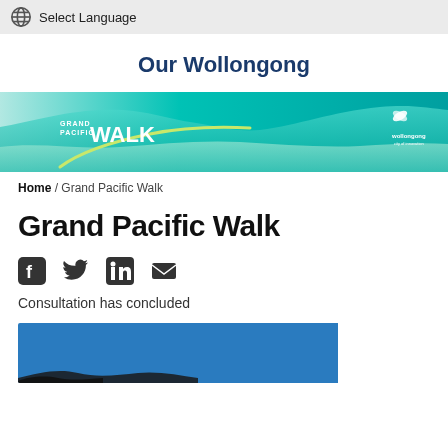Select Language
Our Wollongong
[Figure (illustration): Grand Pacific Walk banner — teal/aqua gradient with stylized landscape showing cliffs and ocean, text reads GRAND PACIFIC WALK, Wollongong City of Innovation logo on right]
Home / Grand Pacific Walk
Grand Pacific Walk
[Figure (infographic): Social sharing icons: Facebook, Twitter, LinkedIn, Email (envelope)]
Consultation has concluded
[Figure (photo): Partial photo showing blue sky and dark tree silhouette at bottom, coastal/nature scene]